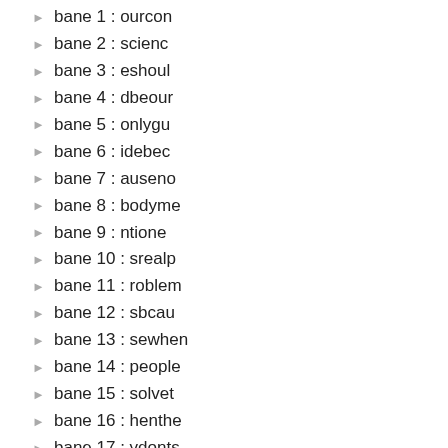bane 1 : ourcon
bane 2 : scienc
bane 3 : eshoul
bane 4 : dbeour
bane 5 : onlygu
bane 6 : idebec
bane 7 : auseno
bane 8 : bodyme
bane 9 : ntione
bane 10 : srealp
bane 11 : roblem
bane 12 : sbcau
bane 13 : sewhen
bane 14 : people
bane 15 : solvet
bane 16 : henthe
bane 17 : ydonts